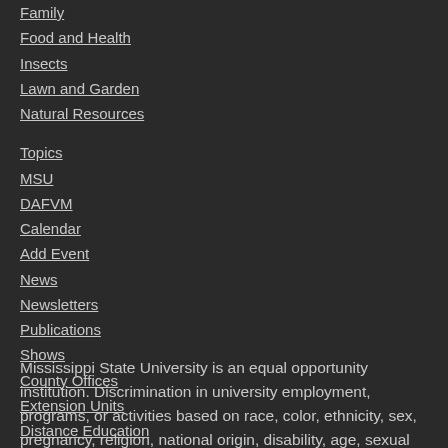Family
Food and Health
Insects
Lawn and Garden
Natural Resources
Topics
MSU
DAFVM
Calendar
Add Event
News
Newsletters
Publications
Shows
County Offices
Extension Units
Distance Education
Staff Directory
Mississippi State University is an equal opportunity institution. Discrimination in university employment, programs, or activities based on race, color, ethnicity, sex, pregnancy, religion, national origin, disability, age, sexual orientation, gender identity, genetic information, status as a U.S. veteran, or any other status protected by applicable law is prohibited.